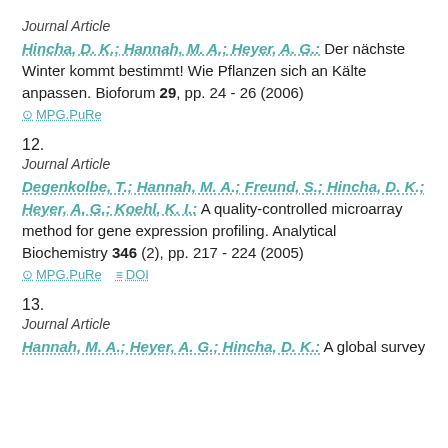Journal Article
Hincha, D. K.; Hannah, M. A.; Heyer, A. G.: Der nächste Winter kommt bestimmt! Wie Pflanzen sich an Kälte anpassen. Bioforum 29, pp. 24 - 26 (2006)
⊙ MPG.PuRe
12.
Journal Article
Degenkolbe, T.; Hannah, M. A.; Freund, S.; Hincha, D. K.; Heyer, A. G.; Koehl, K. I.: A quality-controlled microarray method for gene expression profiling. Analytical Biochemistry 346 (2), pp. 217 - 224 (2005)
⊙ MPG.PuRe   ≡ DOI
13.
Journal Article
Hannah, M. A.; Heyer, A. G.; Hincha, D. K.: A global survey